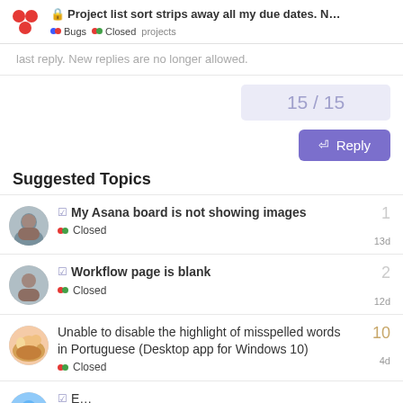Project list sort strips away all my due dates. N... Bugs Closed projects
last reply. New replies are no longer allowed.
15 / 15
Reply
Suggested Topics
My Asana board is not showing images
Closed
1
13d
Workflow page is blank
Closed
2
12d
Unable to disable the highlight of misspelled words in Portuguese (Desktop app for Windows 10)
Closed
10
4d